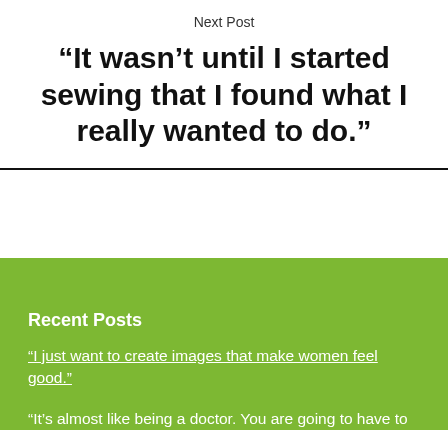Next Post
“It wasn’t until I started sewing that I found what I really wanted to do.”
Recent Posts
“I just want to create images that make women feel good.”
“It’s almost like being a doctor. You are going to have to